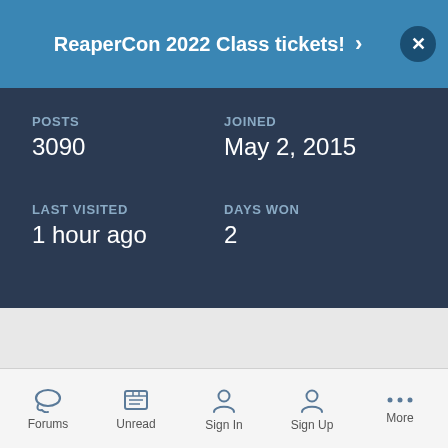ReaperCon 2022 Class tickets! ›
POSTS
3090
JOINED
May 2, 2015
LAST VISITED
1 hour ago
DAYS WON
2
[Figure (other): Loading spinner circle on grey background]
Forums   Unread   Sign In   Sign Up   More